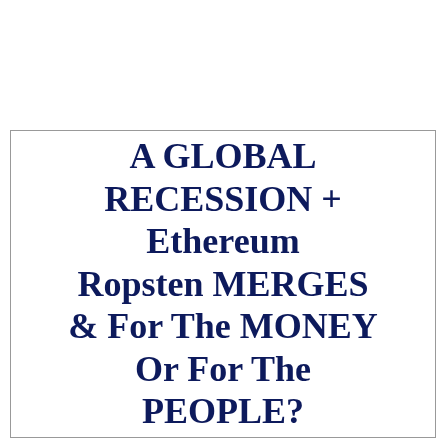A GLOBAL RECESSION + Ethereum Ropsten MERGES & For The MONEY Or For The PEOPLE?